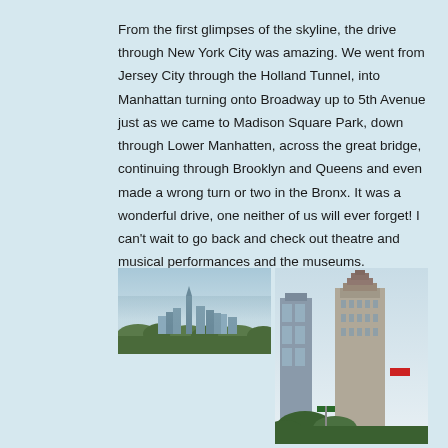From the first glimpses of the skyline, the drive through New York City was amazing. We went from Jersey City through the Holland Tunnel, into Manhattan turning onto Broadway up to 5th Avenue just as we came to Madison Square Park, down through Lower Manhatten, across the great bridge, continuing through Brooklyn and Queens and even made a wrong turn or two in the Bronx. It was a wonderful drive, one neither of us will ever forget! I can't wait to go back and check out theatre and musical performances and the museums.
[Figure (photo): New York City skyline viewed from a distance, showing Manhattan skyline with One World Trade Center, trees in the foreground, and a hazy sky.]
[Figure (photo): Looking up at tall New York City skyscrapers including Art Deco style buildings and modern towers, with green trees and street signs visible at the bottom, against a bright sky.]
[Figure (photo): New York City buildings viewed from below, showing modern glass skyscrapers against a blue sky with some clouds.]